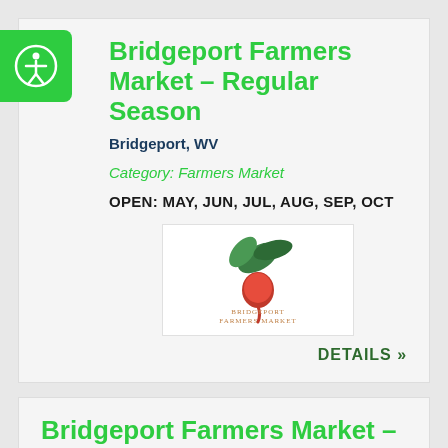Bridgeport Farmers Market – Regular Season
Bridgeport, WV
Category: Farmers Market
OPEN: MAY, JUN, JUL, AUG, SEP, OCT
[Figure (logo): Bridgeport Farmers Market logo with illustrated vegetables and text]
DETAILS »
Bridgeport Farmers Market – Winter Season